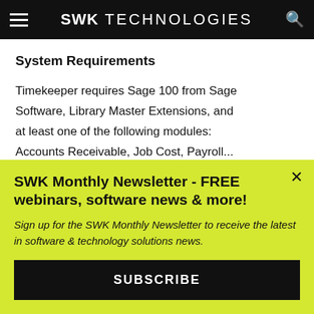SWK TECHNOLOGIES
System Requirements
Timekeeper requires Sage 100 from Sage Software, Library Master Extensions, and at least one of the following modules:
Accounts Receivable, Job Cost, Payroll...
SWK Monthly Newsletter - FREE webinars, software news & more!
Sign up for the SWK Monthly Newsletter to receive the latest in software & technology solutions news.
SUBSCRIBE